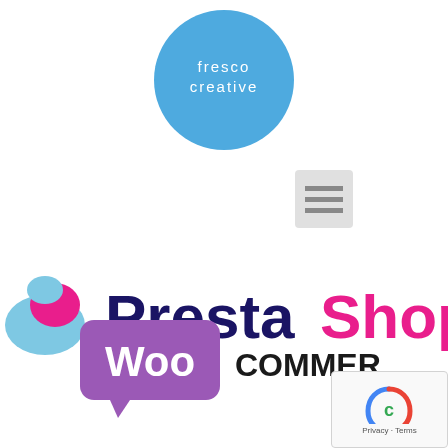[Figure (logo): Fresco Creative logo: blue circle with white text 'fresco creative' in lowercase]
[Figure (logo): Hamburger/menu icon: three horizontal lines in a grey square]
[Figure (logo): PrestaShop logo: partial view showing the PrestaShop bird icon and 'PrestaShop' text in dark navy and pink]
[Figure (logo): WooCommerce logo: purple speech bubble with 'Woo' in white and 'COMMERCE' in black bold text]
[Figure (logo): reCAPTCHA widget in bottom right corner]